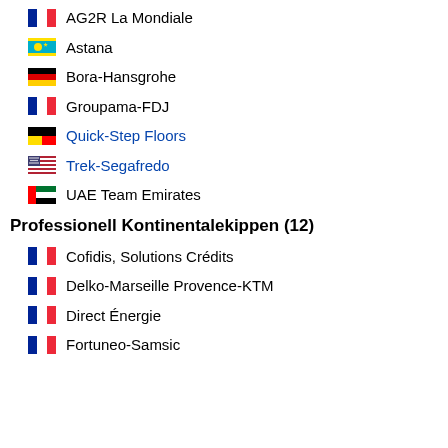AG2R La Mondiale
Astana
Bora-Hansgrohe
Groupama-FDJ
Quick-Step Floors
Trek-Segafredo
UAE Team Emirates
Professionell Kontinentalekippen (12)
Cofidis, Solutions Crédits
Delko-Marseille Provence-KTM
Direct Énergie
Fortuneo-Samsic